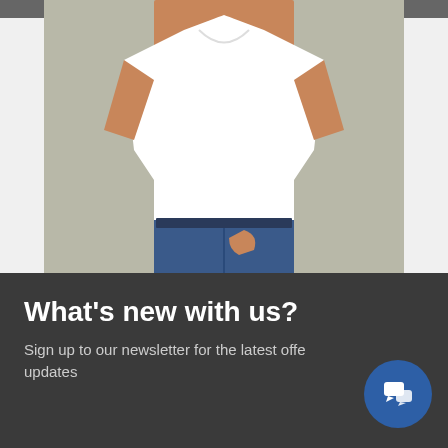[Figure (photo): Man wearing white t-shirt with blue jeans, product photo for Xpres Subli T-Shirt]
Xpres Subli T-Shirt - Removable Label
£7.22 (ex. VAT)
£8.02
ID: XP520R
What's new with us?
Sign up to our newsletter for the latest offers and updates